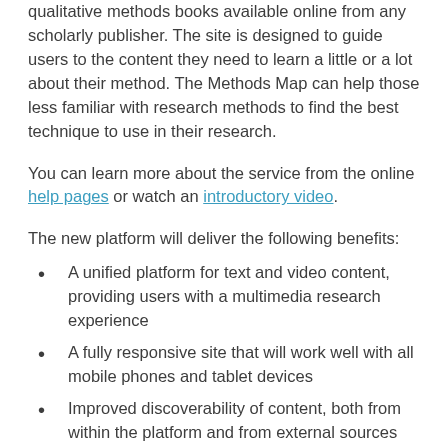qualitative methods books available online from any scholarly publisher. The site is designed to guide users to the content they need to learn a little or a lot about their method. The Methods Map can help those less familiar with research methods to find the best technique to use in their research.
You can learn more about the service from the online help pages or watch an introductory video.
The new platform will deliver the following benefits:
A unified platform for text and video content, providing users with a multimedia research experience
A fully responsive site that will work well with all mobile phones and tablet devices
Improved discoverability of content, both from within the platform and from external sources
We have improved the internal search, meaning better and more relevant results. The Methods